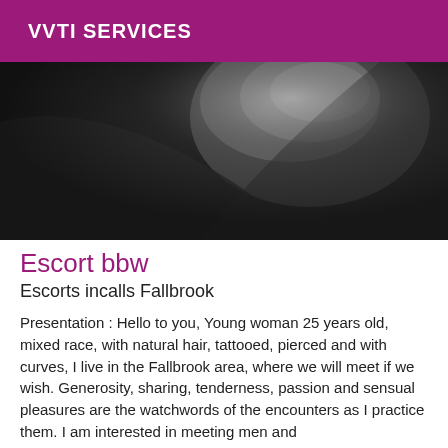VVTI SERVICES
[Figure (photo): Black and white close-up photograph, abstract body curves, dark background]
Escort bbw
Escorts incalls Fallbrook
Presentation : Hello to you, Young woman 25 years old, mixed race, with natural hair, tattooed, pierced and with curves, I live in the Fallbrook area, where we will meet if we wish. Generosity, sharing, tenderness, passion and sensual pleasures are the watchwords of the encounters as I practice them. I am interested in meeting men and